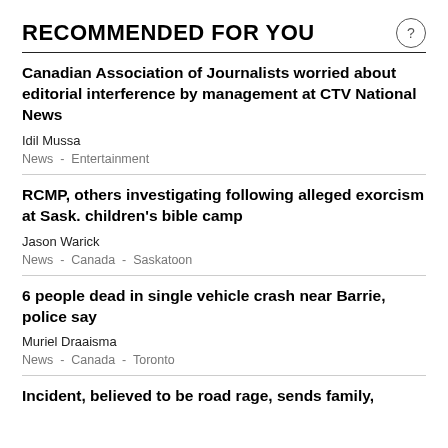RECOMMENDED FOR YOU
Canadian Association of Journalists worried about editorial interference by management at CTV National News
Idil Mussa
News  -  Entertainment
RCMP, others investigating following alleged exorcism at Sask. children's bible camp
Jason Warick
News  -  Canada  -  Saskatoon
6 people dead in single vehicle crash near Barrie, police say
Muriel Draaisma
News  -  Canada  -  Toronto
Incident, believed to be road rage, sends family,